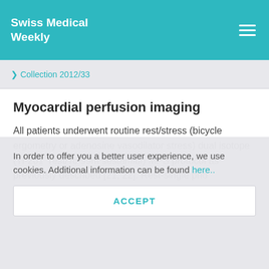Swiss Medical Weekly
❯ Collection 2012/33
Myocardial perfusion imaging
All patients underwent routine rest/stress (bicycle ergometry or adenosine vasodilator stress) dual isotope (Tl-201 rest/Tc-99m sestamibi) MPS protocol as previously described [21, 22]. Rest-single pho
In order to offer you a better user experience, we use cookies. Additional information can be found here..
ACCEPT